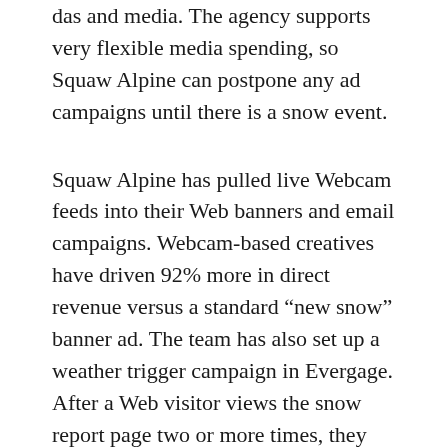das and media. The agency supports very flexible media spending, so Squaw Alpine can postpone any ad campaigns until there is a snow event.
Squaw Alpine has pulled live Webcam feeds into their Web banners and email campaigns. Webcam-based creatives have driven 92% more in direct revenue versus a standard “new snow” banner ad. The team has also set up a weather trigger campaign in Evergage. After a Web visitor views the snow report page two or more times, they are offered an opportunity to subscribe to a daily snow report, sent directly to their email inbox every morning. The team also set up a “Powder alert” email campaign that automatically runs when the resort